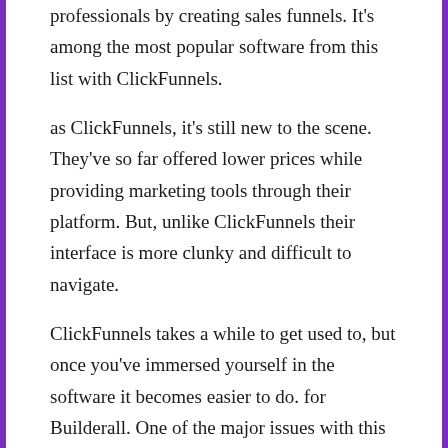professionals by creating sales funnels. It's among the most popular software from this list with ClickFunnels.
as ClickFunnels, it's still new to the scene. They've so far offered lower prices while providing marketing tools through their platform. But, unlike ClickFunnels their interface is more clunky and difficult to navigate.
ClickFunnels takes a while to get used to, but once you've immersed yourself in the software it becomes easier to do. for Builderall. One of the major issues with this software is that it is known to have glitches and bugs from time to time.
As previously mentioned the two software programs aim to support professionals in selling funnels. However, they have components that are slightly different from each other. Their goals overall are different when you look at them closely.
In addition, even though both have several designs for their sales